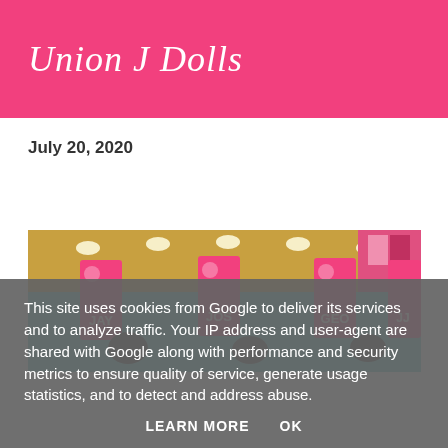Union J Dolls
July 20, 2020
[Figure (photo): A store or event display with a teal/turquoise counter, pink banners reading JAY, JOS, GEO, and JJ, ceiling lights visible in background.]
This site uses cookies from Google to deliver its services and to analyze traffic. Your IP address and user-agent are shared with Google along with performance and security metrics to ensure quality of service, generate usage statistics, and to detect and address abuse.
LEARN MORE    OK